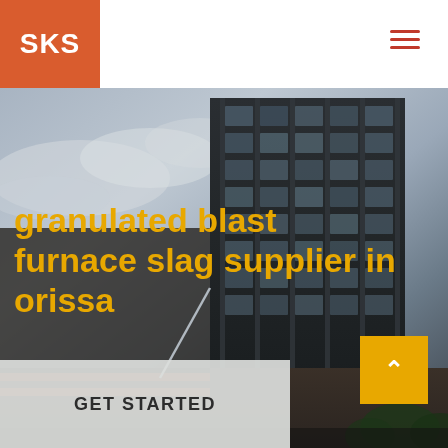[Figure (logo): SKS logo — white text on burnt orange/red square background]
[Figure (photo): Photo of a dark modern multi-storey glass-facade building against a cloudy sky, with an industrial/urban setting]
granulated blast furnace slag supplier in orissa
GET STARTED